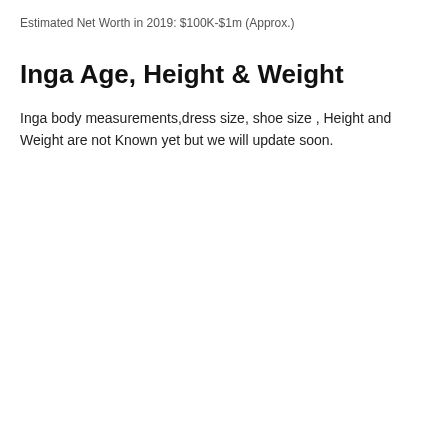Estimated Net Worth in 2019: $100K-$1m (Approx.)
Inga Age, Height & Weight
Inga body measurements,dress size, shoe size , Height and Weight are not Known yet but we will update soon.